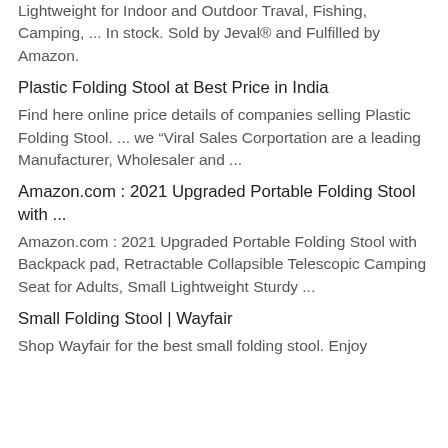Lightweight for Indoor and Outdoor Traval, Fishing, Camping, ... In stock. Sold by Jeval® and Fulfilled by Amazon.
Plastic Folding Stool at Best Price in India
Find here online price details of companies selling Plastic Folding Stool. ... we “Viral Sales Corportation are a leading Manufacturer, Wholesaler and ...
Amazon.com : 2021 Upgraded Portable Folding Stool with ...
Amazon.com : 2021 Upgraded Portable Folding Stool with Backpack pad, Retractable Collapsible Telescopic Camping Seat for Adults, Small Lightweight Sturdy ...
Small Folding Stool | Wayfair
Shop Wayfair for the best small folding stool. Enjoy